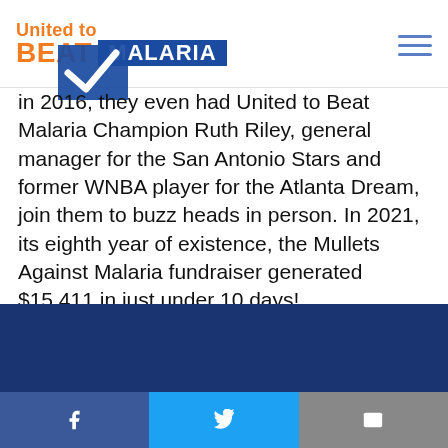United to BEAT MALARIA
in 2016, they even had United to Beat Malaria Champion Ruth Riley, general manager for the San Antonio Stars and former WNBA player for the Atlanta Dream, join them to buzz heads in person. In 2021, its eighth year of existence, the Mullets Against Malaria fundraiser generated $15,411 in just under 10 days!
Facebook | Twitter | Email